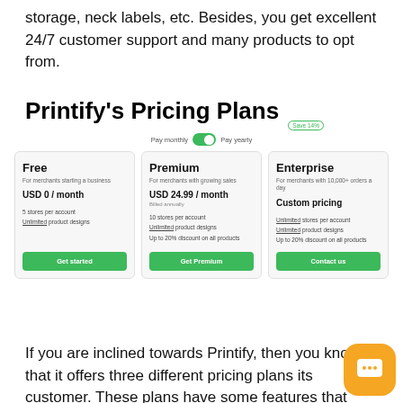storage, neck labels, etc. Besides, you get excellent 24/7 customer support and many products to opt from.
Printify's Pricing Plans
[Figure (infographic): Printify pricing plans showing three tiers: Free (USD 0/month), Premium (USD 24.99/month, billed annually), and Enterprise (Custom pricing), with a Pay monthly / Pay yearly toggle showing Save 14%.]
If you are inclined towards Printify, then you know that it offers three different pricing plans its customer. These plans have some features that